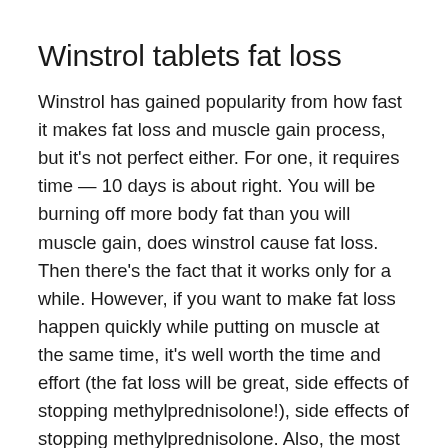Winstrol tablets fat loss
Winstrol has gained popularity from how fast it makes fat loss and muscle gain process, but it's not perfect either. For one, it requires time — 10 days is about right. You will be burning off more body fat than you will muscle gain, does winstrol cause fat loss. Then there's the fact that it works only for a while. However, if you want to make fat loss happen quickly while putting on muscle at the same time, it's well worth the time and effort (the fat loss will be great, side effects of stopping methylprednisolone!), side effects of stopping methylprednisolone. Also, the most extreme and time consuming phase (5 days) may not be the best option for everyone, so it's important to discuss how best to handle it with your coach and doctor, winstrol dosage for weight loss.